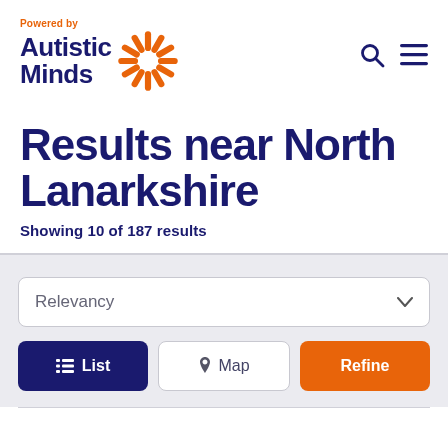[Figure (logo): Autistic Minds logo with orange sunburst graphic and 'Powered by' text above, plus navigation icons (search and menu) on the right]
Results near North Lanarkshire
Showing 10 of 187 results
[Figure (screenshot): Filter UI: Relevancy dropdown selector, and three buttons: List (dark blue), Map (white/outlined), Refine (orange)]